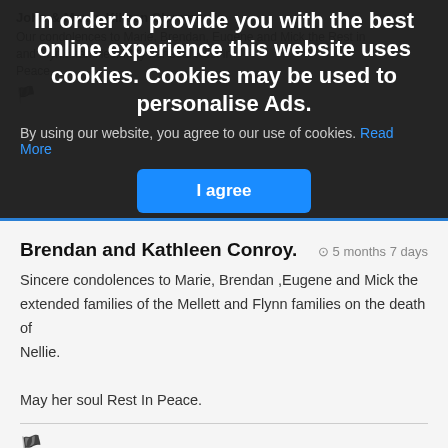[Figure (screenshot): Cookie consent overlay banner with dark background covering upper portion of webpage. Contains bold white heading, gray body text with blue link, and a blue 'I agree' button.]
In order to provide you with the best online experience this website uses cookies. Cookies may be used to personalise Ads.
By using our website, you agree to our use of cookies. Read More
Brendan and Kathleen Conroy.
5 months 7 days
Sincere condolences to Marie, Brendan ,Eugene and Mick the extended families of the Mellett and Flynn families on the death of Nellie.

May her soul Rest In Peace.